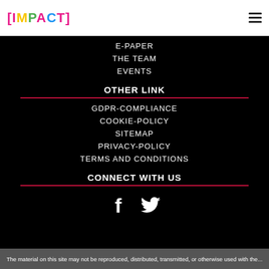[IMPACT]
E-PAPER
THE TEAM
EVENTS
OTHER LINK
GDPR-COMPLIANCE
COOKIE-POLICY
SITEMAP
PRIVACY-POLICY
TERMS AND CONDITIONS
CONNECT WITH US
[Figure (illustration): Facebook and Twitter social media icons in white on black background]
The material on this site may not be reproduced, distributed, transmitted, or otherwise used with the...